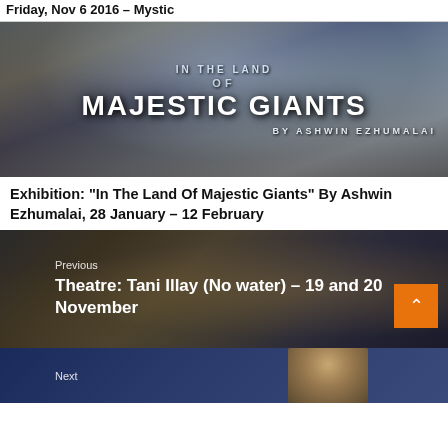Friday, Nov 6 2016 – Mystic
[Figure (photo): Promotional banner image for 'In The Land Of Majestic Giants' photography exhibition by Ashwin Ezhumalai. Shows mountainous landscape with snow-capped peaks and text overlay in white bold letters.]
Exhibition: “In The Land Of Majestic Giants” By Ashwin Ezhumalai, 28 January – 12 February
[Figure (photo): Promotional image for Theatre: Tani Illay (No water) with Tamil script text in gold on dark background. Previous navigation item.]
[Figure (photo): Next navigation item strip showing partial blue background image.]